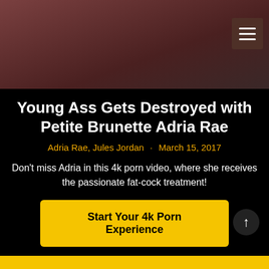[Figure (photo): Hero image showing adult content, partially visible. A hamburger menu icon is in the top-right corner over a dark reddish-brown overlay.]
Young Ass Gets Destroyed with Petite Brunette Adria Rae
Adria Rae, Jules Jordan · March 15, 2017
Don't miss Adria in this 4k porn video, where she receives the passionate fat-cock treatment!
Start Your 4k Porn Experience
← 1 … 39 40 41 42 43 … 57 →